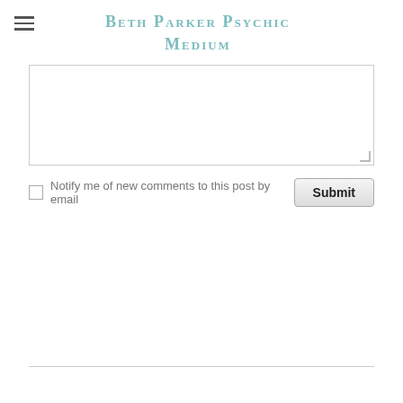Beth Parker Psychic Medium
Notify me of new comments to this post by email
Submit